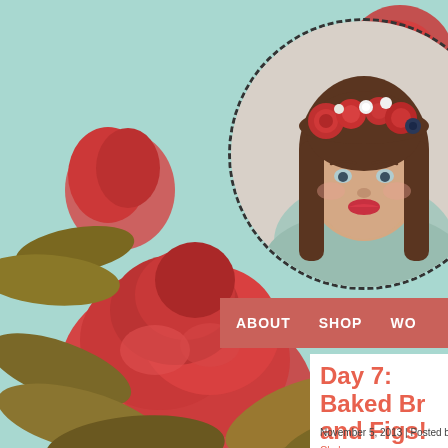[Figure (illustration): Floral botanical illustration background with large red/coral peonies and leaves on a mint/teal background]
[Figure (photo): Portrait photo of a young woman with long brown hair wearing a flower crown of red roses and white flowers, wearing a light blue/mint top, displayed in a circular frame with dashed black border]
ABOUT   SHOP   WO
Day 7: Baked Br and Figs!
November 5, 2013 | Posted by Chelsey